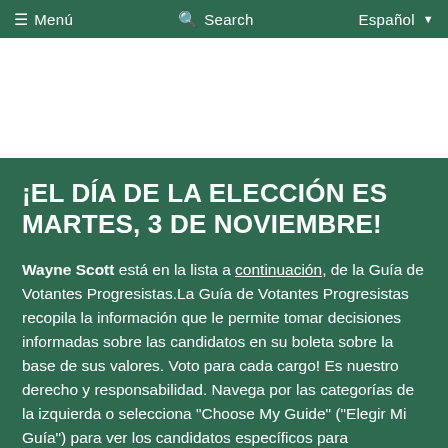≡ Menu   🔍 Search   Español ▾
¡EL DÍA DE LA ELECCIÓN ES MARTES, 3 DE NOVIEMBRE!
Wayne Scott está en la lista a continuación, de la Guía de Votantes Progresistas.La Guía de Votantes Progresistas recopila la información que le permite tomar decisiones informadas sobre las candidatos en su boleta sobre la base de sus valores. Voto para cada cargo! Es nuestro derecho y responsabilidad. Navega por las categorías de la izquierda o selecciona "Choose My Guide" ("Elegir Mi Guía") para ver los candidatos específicos para